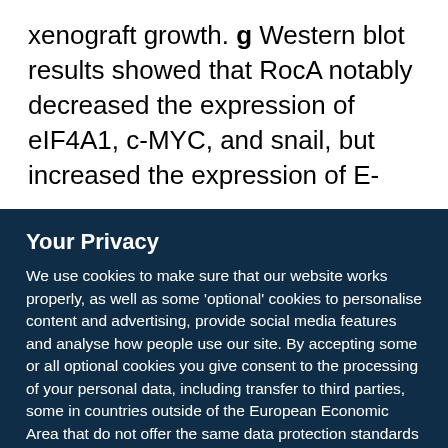xenograft growth. g Western blot results showed that RocA notably decreased the expression of eIF4A1, c-MYC, and snail, but increased the expression of E-
Your Privacy
We use cookies to make sure that our website works properly, as well as some 'optional' cookies to personalise content and advertising, provide social media features and analyse how people use our site. By accepting some or all optional cookies you give consent to the processing of your personal data, including transfer to third parties, some in countries outside of the European Economic Area that do not offer the same data protection standards as the country where you live. You can decide which optional cookies to accept by clicking on 'Manage Settings', where you can also find more information about how your personal data is processed. Further information can be found in our privacy policy.